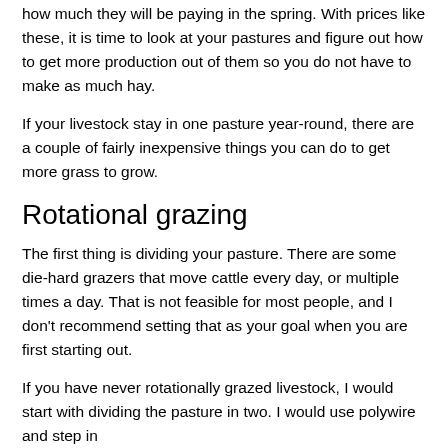how much they will be paying in the spring. With prices like these, it is time to look at your pastures and figure out how to get more production out of them so you do not have to make as much hay.
If your livestock stay in one pasture year-round, there are a couple of fairly inexpensive things you can do to get more grass to grow.
Rotational grazing
The first thing is dividing your pasture. There are some die-hard grazers that move cattle every day, or multiple times a day. That is not feasible for most people, and I don’t recommend setting that as your goal when you are first starting out.
If you have never rotationally grazed livestock, I would start with dividing the pasture in two. I would use polywire and step in